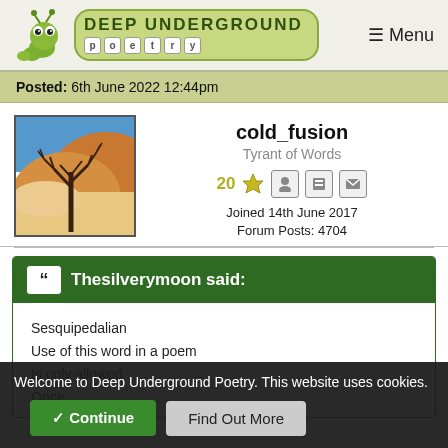Deep Underground Poetry — Menu
Posted: 6th June 2022 12:44pm
[Figure (photo): Desert landscape photo showing a dead bare tree against orange sand dunes and blue sky]
cold_fusion
Tyrant of Words
20 ★
Joined 14th June 2017
Forum Posts: 4704
Thesilverymoon said:
Sesquipedalian
Use of this word in a poem
Is only allowed
Once
Welcome to Deep Underground Poetry. This website uses cookies.
✔ Continue   Find Out More